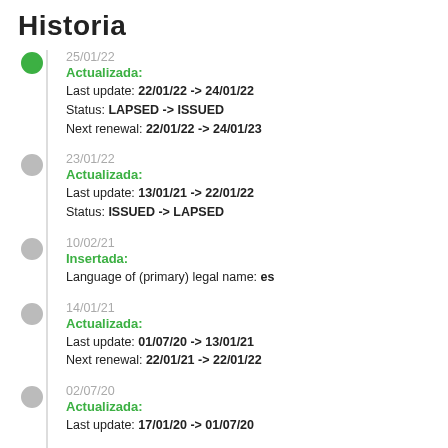Historia
25/01/22
Actualizada:
Last update: 22/01/22 -> 24/01/22
Status: LAPSED -> ISSUED
Next renewal: 22/01/22 -> 24/01/23
23/01/22
Actualizada:
Last update: 13/01/21 -> 22/01/22
Status: ISSUED -> LAPSED
10/02/21
Insertada:
Language of (primary) legal name: es
14/01/21
Actualizada:
Last update: 01/07/20 -> 13/01/21
Next renewal: 22/01/21 -> 22/01/22
02/07/20
Actualizada:
Last update: 17/01/20 -> 01/07/20
Insertada:
Registration date(s): RA000525